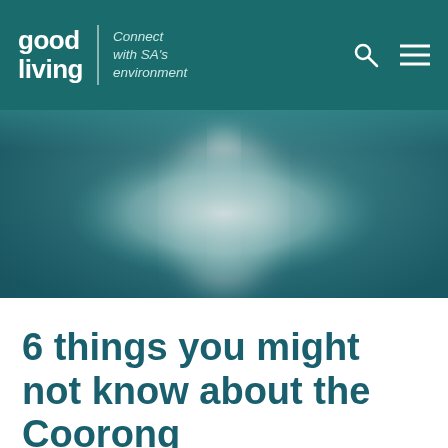good living | Connect with SA's environment
[Figure (photo): Blurred underwater or coastal scene with teal-blue water tones and a soft grey shape in the centre, suggesting a view of the Coorong environment]
6 things you might not know about the Coorong